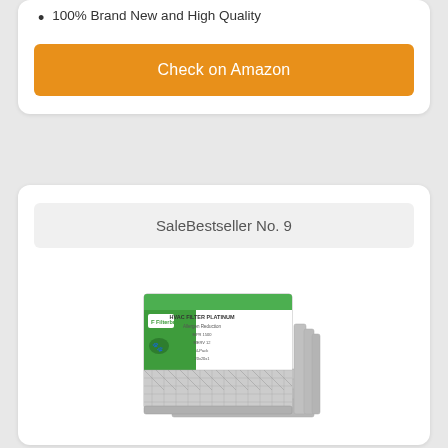100% Brand New and High Quality
Check on Amazon
SaleBestseller No. 9
[Figure (photo): Filterbuy air filter product photo showing stacked filters with green branded packaging]